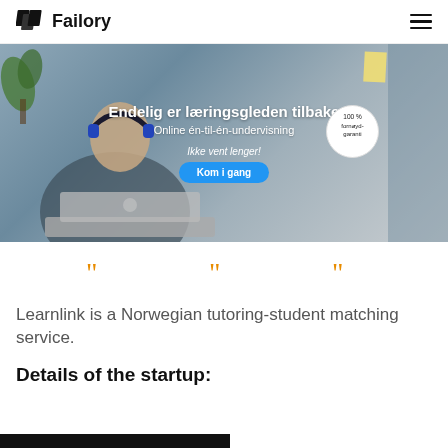Failory
[Figure (photo): Screenshot of Learnlink website hero section showing a boy with headphones at a laptop, with Norwegian text 'Endelig er læringsgleden tilbake', 'Online én-til-én-undervisning', 'Ikke vent lenger!', 'Kom i gang' button, and '100% fornøyd-garanti' badge]
[Figure (illustration): Three orange quotation mark icons in a row representing testimonials]
Learnlink is a Norwegian tutoring-student matching service.
Details of the startup: